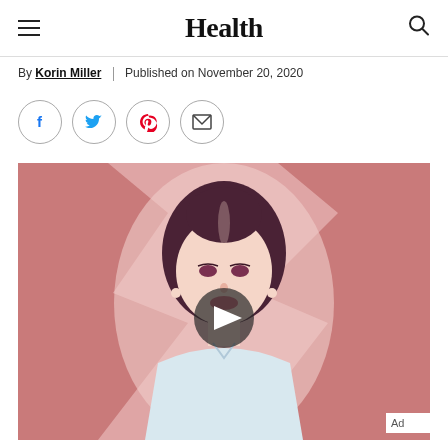Health
By Korin Miller | Published on November 20, 2020
[Figure (other): Social sharing icons: Facebook, Twitter, Pinterest, Email — circular bordered buttons]
[Figure (photo): Illustration of a woman with dark hair in an updo, light top, on a pink background with a white zigzag shape. A video play button overlay is centered on the image. 'Ad' label in bottom right corner.]